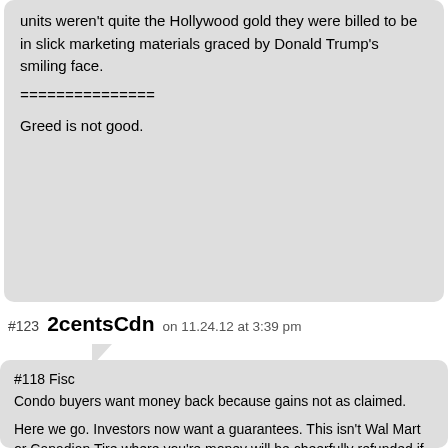units weren't quite the Hollywood gold they were billed to be in slick marketing materials graced by Donald Trump's smiling face.

===============

Greed is not good.
#123 2centsCdn on 11.24.12 at 3:39 pm
#118 Fisc
Condo buyers want money back because gains not as claimed.

Here we go. Investors now want a guarantees. This isn't Wal Mart or Canadian Tire where you're money will be cheerfully refunded if you aren't 100% happy. When you put your name on a 5-6-7-$800K condo to be built … you are not escaping. These are smart shrewd business people and as friendly as the sales people may have been … the building owners and their lawyers will not be. I'm sure fine print in the document you signed when you plunked down your money(s) has you hog-tied and powerless. There will be thousands of people trying to get out. The builders can't let any escape or the flood gates will open. This is going to get shitty very soon.